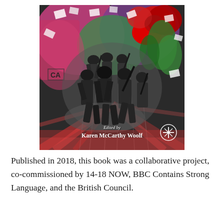[Figure (illustration): Book cover artwork: a collage showing black-and-white photograph of soldiers overlaid on a colorful painted background with large red poppies, tropical foliage, scattered paper fragments, and radiating streaks of color. Text on cover reads 'Edited by Karen McCarthy Woolf' with a publisher logo in the bottom right corner.]
Published in 2018, this book was a collaborative project, co-commissioned by 14-18 NOW, BBC Contains Strong Language, and the British Council.